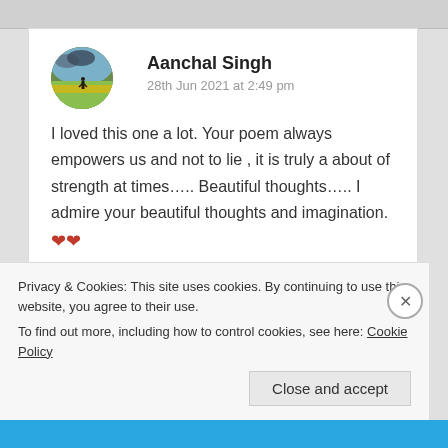Aanchal Singh
28th Jun 2021 at 2:49 pm
I loved this one a lot. Your poem always empowers us and not to lie , it is truly a about of strength at times….. Beautiful thoughts….. I admire your beautiful thoughts and imagination.❤❤
However I always find it conflicting. My mother says your tears are no less than precious pearls so
Privacy & Cookies: This site uses cookies. By continuing to use this website, you agree to their use.
To find out more, including how to control cookies, see here: Cookie Policy
Close and accept